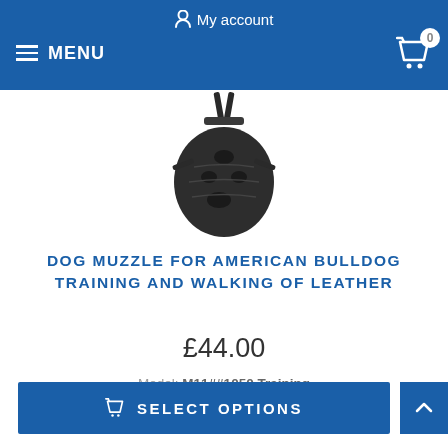My account  MENU  0
[Figure (photo): A leather dog muzzle with straps, shown hanging against a white background.]
DOG MUZZLE FOR AMERICAN BULLDOG TRAINING AND WALKING OF LEATHER
£44.00
Model: M11##1050 Training Leather Muzzle
SELECT OPTIONS